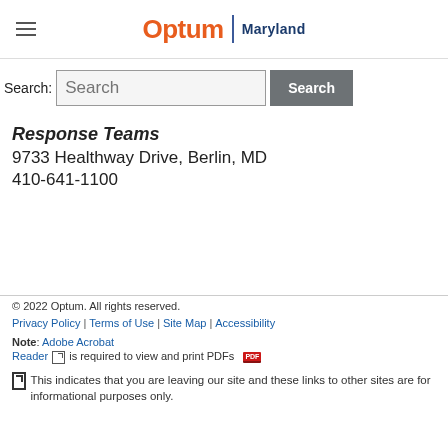Optum | Maryland
Search:
Response Teams
9733 Healthway Drive, Berlin, MD
410-641-1100
© 2022 Optum. All rights reserved.
Privacy Policy | Terms of Use | Site Map | Accessibility
Note: Adobe Acrobat Reader is required to view and print PDFs
This indicates that you are leaving our site and these links to other sites are for informational purposes only.